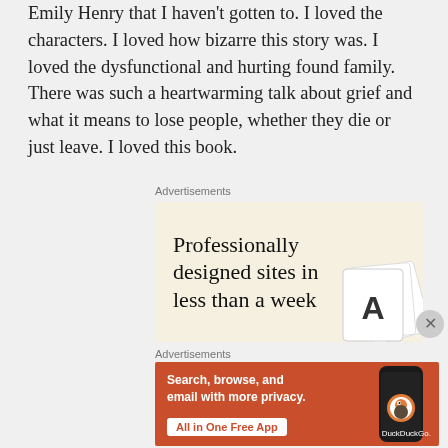Emily Henry that I haven't gotten to. I loved the characters. I loved how bizarre this story was. I loved the dysfunctional and hurting found family. There was such a heartwarming talk about grief and what it means to lose people, whether they die or just leave. I loved this book.
Advertisements
[Figure (screenshot): Advertisement banner with cream/beige background showing text 'Professionally designed sites in less than a week' with card/document graphics on the right side]
Advertisements
[Figure (screenshot): DuckDuckGo advertisement with orange-red background showing 'Search, browse, and email with more privacy. All in One Free App' with a phone graphic and DuckDuckGo logo]